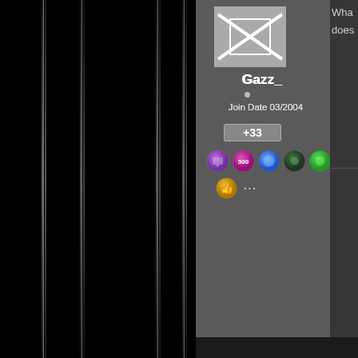[Figure (screenshot): Forum/community post page showing two user profile sidebars. Left half of page is black with vertical gray stripe decorations. Right portion shows two user profile cards with avatars, usernames (Gazz_ and Istari), join dates, reputation scores (+33 and +24), and badge icons. Partially visible right side shows post text and reply interface.]
Gazz_
Join Date 03/2004
+33
Istari
Join Date 03/2006
+24
Wha... does...
Reply
Qu... Wh... doe...
It's th... your... beco...